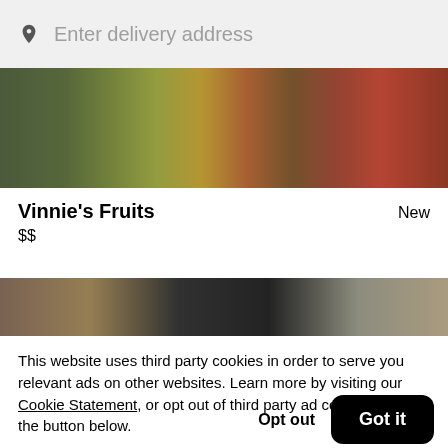Enter delivery address
[Figure (photo): Blurred photo of fruit items in a store, showing colorful produce including what appears to be tropical fruits]
Vinnie's Fruits
New
$$
[Figure (photo): Partially visible blurred restaurant/store image with dark overlay]
This website uses third party cookies in order to serve you relevant ads on other websites. Learn more by visiting our Cookie Statement, or opt out of third party ad cookies using the button below.
Opt out
Got it